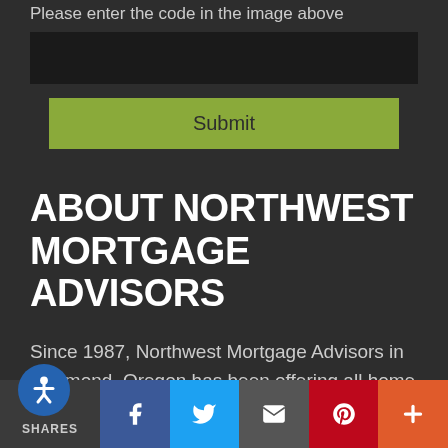Please enter the code in the image above
[input box]
Submit
ABOUT NORTHWEST MORTGAGE ADVISORS
Since 1987, Northwest Mortgage Advisors in Redmond, Oregon has been offering all home loans such as FHA, USDA, VA Home Financing, Jumbo, manufacturer home loans and more. We are not just a mortgage broker, but as a direct
SHARES | Facebook | Twitter | Email | Pinterest | More